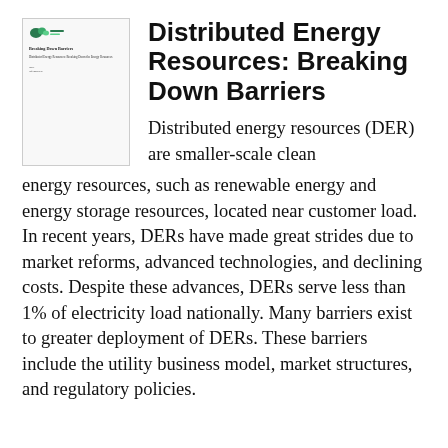[Figure (illustration): Small thumbnail image of a document cover page with a logo, title text and subtitle]
Distributed Energy Resources: Breaking Down Barriers
Distributed energy resources (DER) are smaller-scale clean energy resources, such as renewable energy and energy storage resources, located near customer load. In recent years, DERs have made great strides due to market reforms, advanced technologies, and declining costs. Despite these advances, DERs serve less than 1% of electricity load nationally. Many barriers exist to greater deployment of DERs. These barriers include the utility business model, market structures, and regulatory policies.